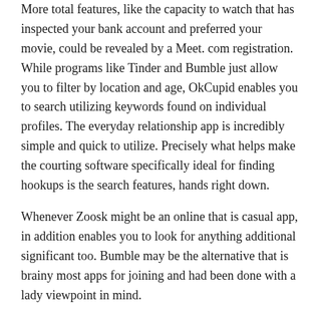More total features, like the capacity to watch that has inspected your bank account and preferred your movie, could be revealed by a Meet. com registration. While programs like Tinder and Bumble just allow you to filter by location and age, OkCupid enables you to search utilizing keywords found on individual profiles. The everyday relationship app is incredibly simple and quick to utilize. Precisely what helps make the courting software specifically ideal for finding hookups is the search features, hands right down.
Whenever Zoosk might be an online that is casual app, in addition enables you to look for anything additional significant too. Bumble may be the alternative that is brainy most apps for joining and had been done with a lady viewpoint in mind.